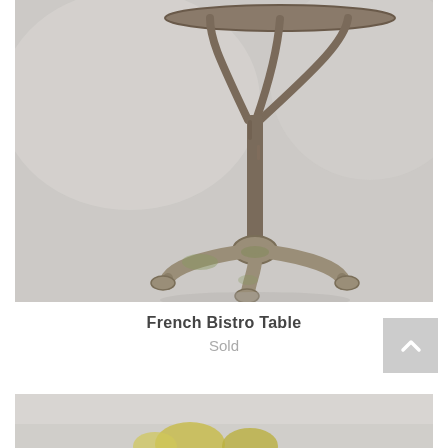[Figure (photo): Photograph of a vintage French bistro table with ornate cast iron tripod base with claw feet and curved supports meeting at a single central post topped with a round tabletop, shown against a grey background]
French Bistro Table
Sold
[Figure (photo): Partial photograph of another antique item, showing what appears to be decorative green/yellow elements against a light grey background, cropped at bottom of page]